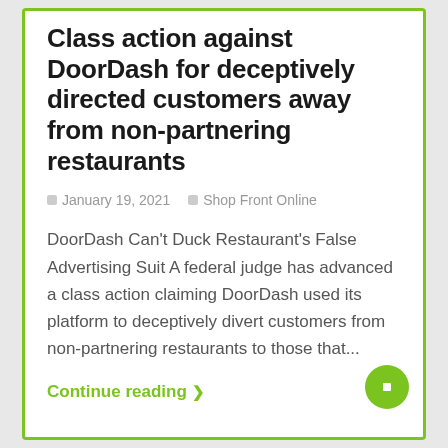Class action against DoorDash for deceptively directed customers away from non-partnering restaurants
January 19, 2021   Shop Front Online
DoorDash Can't Duck Restaurant's False Advertising Suit A federal judge has advanced a class action claiming DoorDash used its platform to deceptively divert customers from non-partnering restaurants to those that...
Continue reading ❯